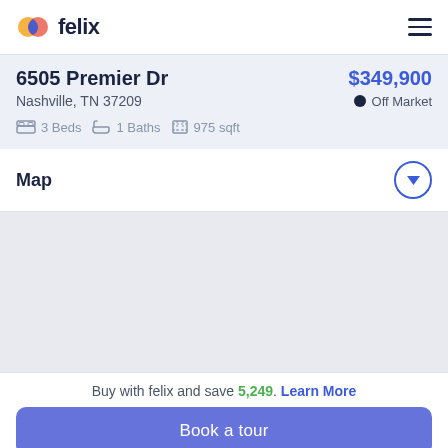felix
6505 Premier Dr
$349,900
Nashville, TN 37209
Off Market
3 Beds  1 Baths  975 sqft
Map
[Figure (map): Map area showing location of 6505 Premier Dr, Nashville, TN 37209]
Buy with felix and save 5,249. Learn More
Book a tour